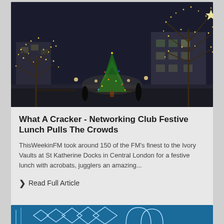[Figure (photo): Night scene of St Katherine Docks in London with trees decorated in warm fairy lights, a Christmas tree in the centre, and brick buildings in the background. Dark blue evening sky.]
What A Cracker - Networking Club Festive Lunch Pulls The Crowds
ThisWeekinFM took around 150 of the FM's finest to the Ivory Vaults at St Katherine Docks in Central London for a festive lunch with acrobats, jugglers an amazing...
❯ Read Full Article
[Figure (photo): Partial view of a second article card with a dark blue/teal background showing a graphic or logo, cropped at the bottom of the page.]